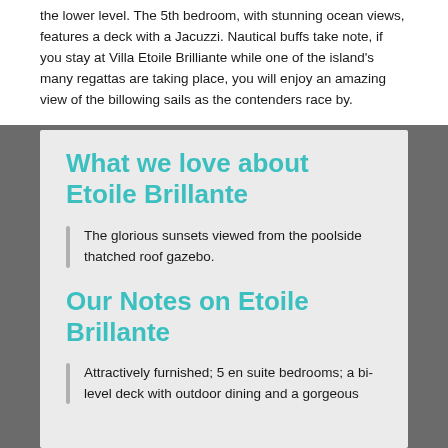the lower level. The 5th bedroom, with stunning ocean views, features a deck with a Jacuzzi. Nautical buffs take note, if you stay at Villa Etoile Brilliante while one of the island's many regattas are taking place, you will enjoy an amazing view of the billowing sails as the contenders race by.
What we love about Etoile Brillante
The glorious sunsets viewed from the poolside thatched roof gazebo.
Our Notes on Etoile Brillante
Attractively furnished; 5 en suite bedrooms; a bi-level deck with outdoor dining and a gorgeous